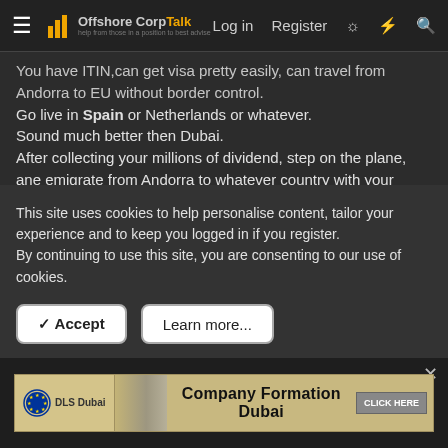OffshoreCorpTalk | Log in | Register
You have ITIN,can get visa pretty easily, can travel from Andorra to EU without border control.
Go live in Spain or Netherlands or whatever.
Sound much better then Dubai.
After collecting your millions of dividend, step on the plane, ane emigrate from Andorra to whatever country with your "private and already taxed" money.

This plan has costed me almost 20k for lawyers and is approved by
This site uses cookies to help personalise content, tailor your experience and to keep you logged in if you register.
By continuing to use this site, you are consenting to our use of cookies.
✓ Accept   Learn more...
[Figure (screenshot): DLS Dubai advertisement banner: Company Formation Dubai with CLICK HERE button]